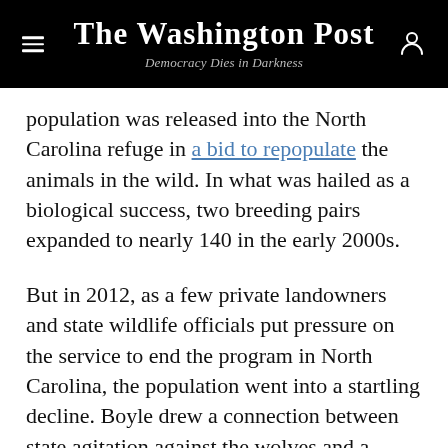The Washington Post — Democracy Dies in Darkness
population was released into the North Carolina refuge in a bid to repopulate the animals in the wild. In what was hailed as a biological success, two breeding pairs expanded to nearly 140 in the early 2000s.
But in 2012, as a few private landowners and state wildlife officials put pressure on the service to end the program in North Carolina, the population went into a startling decline. Boyle drew a connection between state agitation against the wolves and a change in federal management.
“Notably … the red wolf population saw a drastic decrease from 2013 to 2015,” with only 50 wolves